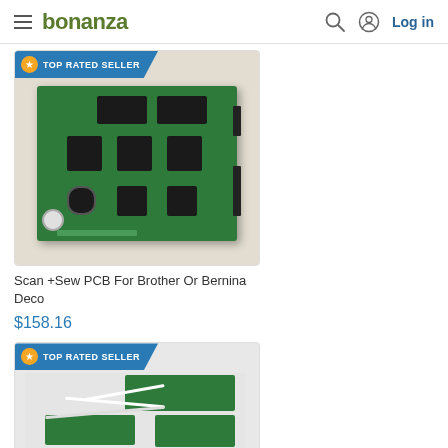bonanza  Log in
[Figure (photo): Scan +Sew PCB circuit board for Brother or Bernina Deco sewing machine, green PCB with multiple chips and connectors, shown on white background, with TOP RATED SELLER badge overlay]
Scan +Sew PCB For Brother Or Bernina Deco
$158.16
[Figure (photo): Green circuit boards (PCBs) with white connector cables on white fabric background, with TOP RATED SELLER badge overlay, partially visible]